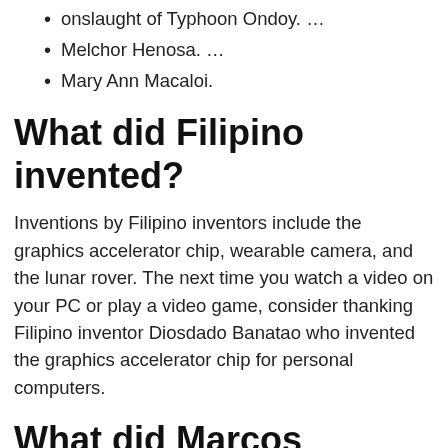onslaught of Typhoon Ondoy. …
Melchor Henosa. …
Mary Ann Macaloi.
What did Filipino invented?
Inventions by Filipino inventors include the graphics accelerator chip, wearable camera, and the lunar rover. The next time you watch a video on your PC or play a video game, consider thanking Filipino inventor Diosdado Banatao who invented the graphics accelerator chip for personal computers.
What did Marcos contribute to the Philippines?
In 1965, Ferdinand Marcos won the